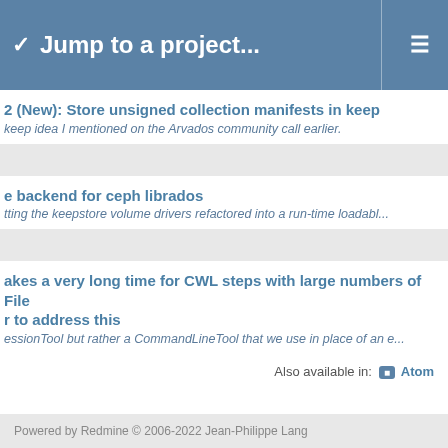Jump to a project...
2 (New): Store unsigned collection manifests in keep
keep idea I mentioned on the Arvados community call earlier.
e backend for ceph librados
tting the keepstore volume drivers refactored into a run-time loadabl...
akes a very long time for CWL steps with large numbers of File r to address this
essionTool but rather a CommandLineTool that we use in place of an e...
Also available in:  Atom
Powered by Redmine © 2006-2022 Jean-Philippe Lang